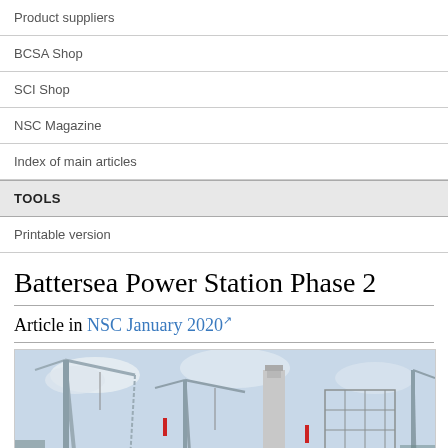Product suppliers
BCSA Shop
SCI Shop
NSC Magazine
Index of main articles
TOOLS
Printable version
Battersea Power Station Phase 2
Article in NSC January 2020
[Figure (photo): Construction site photo of Battersea Power Station Phase 2 showing cranes, scaffolding, and a tall chimney stack under cloudy sky]